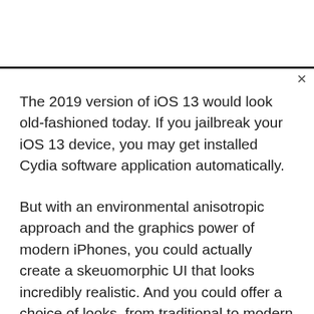The 2019 version of iOS 13 would look old-fashioned today. If you jailbreak your iOS 13 device, you may get installed Cydia software application automatically.
But with an environmental anisotropic approach and the graphics power of modern iPhones, you could actually create a skeuomorphic UI that looks incredibly realistic. And you could offer a choice of looks, from traditional to modern designs.
The iOS 13 Cydia app allows you to download other